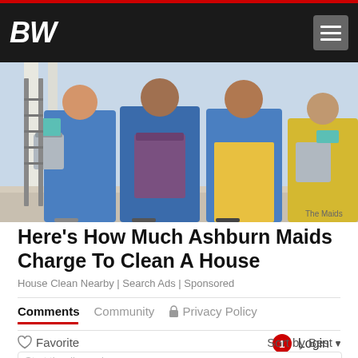BW
[Figure (photo): Three women in blue maids uniforms holding cleaning supplies and buckets in front of a building. Logo reads The Maids.]
Here's How Much Ashburn Maids Charge To Clean A House
House Clean Nearby | Search Ads | Sponsored
Comments  Community  🔒 Privacy Policy
Login
♡ Favorite   Sort by Best